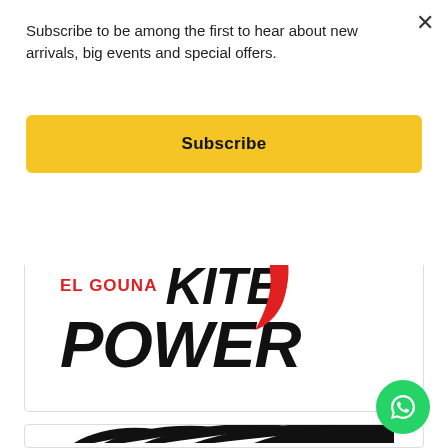Subscribe to be among the first to hear about new arrivals, big events and special offers.
[Figure (other): Yellow Subscribe button]
[Figure (logo): El Gouna Kite Power logo — text 'EL GOUNA' in red, 'KITE' in large black italic, 'POWER' in large black italic, with a red kite tail graphic on the right]
[Figure (logo): Partial view of a second logo at the bottom of the page with stylized black wing/feather design, partially cropped]
[Figure (other): Green WhatsApp circular button with chat bubble icon]